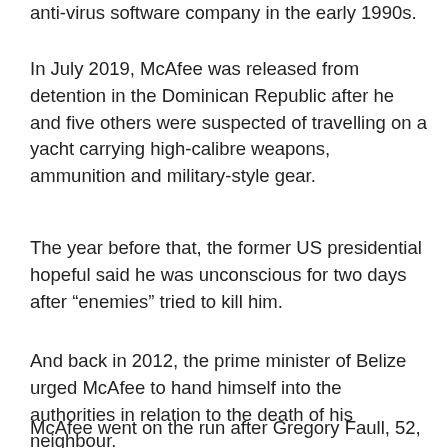anti-virus software company in the early 1990s.
In July 2019, McAfee was released from detention in the Dominican Republic after he and five others were suspected of travelling on a yacht carrying high-calibre weapons, ammunition and military-style gear.
The year before that, the former US presidential hopeful said he was unconscious for two days after “enemies” tried to kill him.
And back in 2012, the prime minister of Belize urged McAfee to hand himself into the authorities in relation to the death of his neighbour.
McAfee went on the run after Gregory Faull, 52,